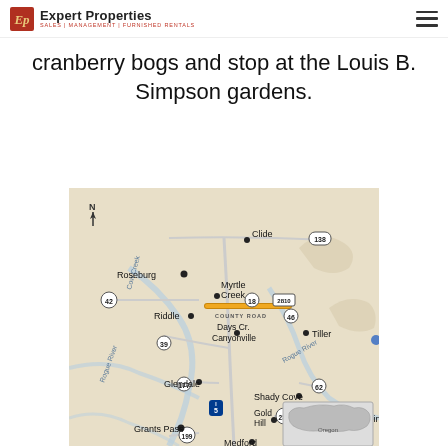Expert Properties — SALES | MANAGEMENT | FURNISHED RENTALS
cranberry bogs and stop at the Louis B. Simpson gardens.
[Figure (map): Road map showing the area around Roseburg, Myrtle Creek, Days Creek, Canyonville, Glendale, Grants Pass, Medford, Shady Cove, Gold Hill, Eagle Point, Tiller, Clide, Riddle in southern Oregon. Shows highway routes including 138, 42, 18, 2810, 46, 39, 177, 5, 62, 234, 199. A highlighted orange route runs east along County Road through Myrtle Creek area. An Oregon state inset map appears in the lower right corner.]